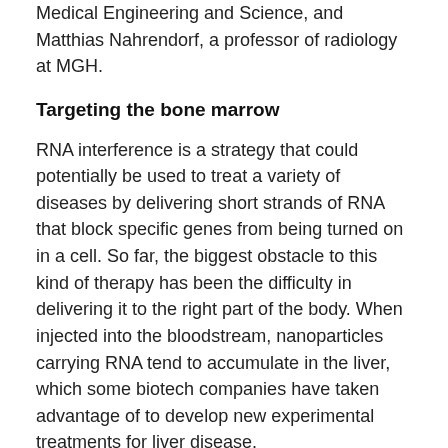Medical Engineering and Science, and Matthias Nahrendorf, a professor of radiology at MGH.
Targeting the bone marrow
RNA interference is a strategy that could potentially be used to treat a variety of diseases by delivering short strands of RNA that block specific genes from being turned on in a cell. So far, the biggest obstacle to this kind of therapy has been the difficulty in delivering it to the right part of the body. When injected into the bloodstream, nanoparticles carrying RNA tend to accumulate in the liver, which some biotech companies have taken advantage of to develop new experimental treatments for liver disease.
Anderson’s lab, working with MIT Institute Professor Robert Langer, who is also an author of the new study, has previously developed a type of polymer nanoparticles that